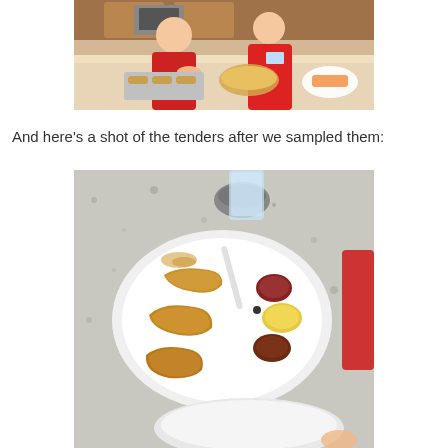[Figure (photo): Two women in red aprons preparing food at a kitchen counter, coating chicken tenders with breading near a bowl and baking tray.]
And here's a shot of the tenders after we sampled them:
[Figure (photo): A white plate with several cooked chicken tenders and three small pools of dipping sauces (ketchup, honey mustard, and barbecue), placed on a granite countertop. An empty white plate is visible at the bottom.]